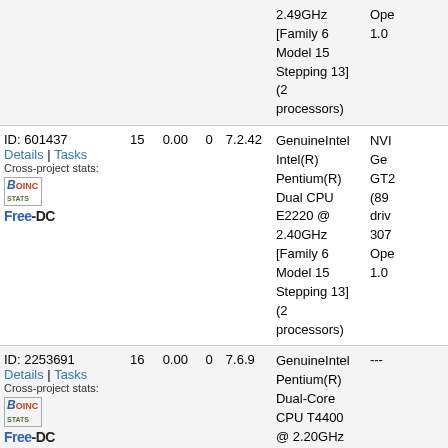| Computer | Num | Float | 0 | Ver | CPU | Extra |
| --- | --- | --- | --- | --- | --- | --- |
| (continued row) |  |  |  |  | 2.49GHz [Family 6 Model 15 Stepping 13] (2 processors) | Ope... 1.0 |
| ID: 601437 Details | Tasks Cross-project stats: BOINCstats Free-DC | 15 | 0.00 | 0 | 7.2.42 | GenuineIntel Intel(R) Pentium(R) Dual CPU E2220 @ 2.40GHz [Family 6 Model 15 Stepping 13] (2 processors) | NVI... Ge... GT2... (89... driv... 307... Ope... 1.0... |
| ID: 2253691 Details | Tasks Cross-project stats: BOINCstats Free-DC | 16 | 0.00 | 0 | 7.6.9 | GenuineIntel Pentium(R) Dual-Core CPU T4400 @ 2.20GHz | --- |